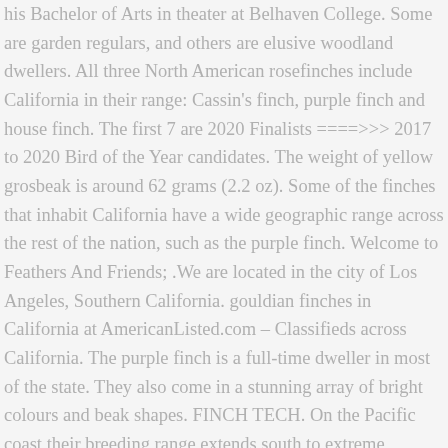his Bachelor of Arts in theater at Belhaven College. Some are garden regulars, and others are elusive woodland dwellers. All three North American rosefinches include California in their range: Cassin's finch, purple finch and house finch. The first 7 are 2020 Finalists ====>>> 2017 to 2020 Bird of the Year candidates. The weight of yellow grosbeak is around 62 grams (2.2 oz). Some of the finches that inhabit California have a wide geographic range across the rest of the nation, such as the purple finch. Welcome to Feathers And Friends; .We are located in the city of Los Angeles, Southern California. gouldian finches in California at AmericanListed.com – Classifieds across California. The purple finch is a full-time dweller in most of the state. They also come in a stunning array of bright colours and beak shapes. FINCH TECH. On the Pacific coast their breeding range extends south to extreme northwestern Baja California. The purple finch has a poor name, as its color is more pinkish than purple, according to the Shaw Creek Bird Supply website. The purple finch is a bird that lives in most of California